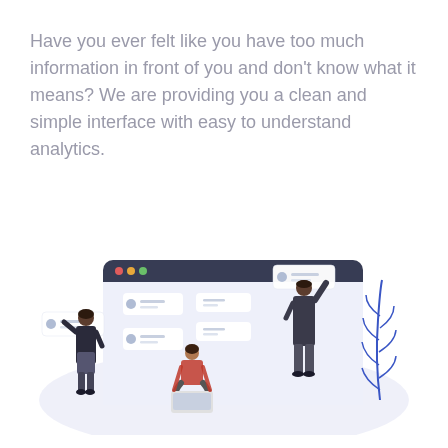Have you ever felt like you have too much information in front of you and don't know what it means? We are providing you a clean and simple interface with easy to understand analytics.
[Figure (illustration): Illustration of three people interacting with a browser/dashboard UI. One woman in business attire gestures at floating UI cards on the left, a person sits cross-legged on the floor with a laptop in the middle, and a man in a suit reaches up to arrange cards on the right. A decorative blue leaf branch appears on the far right. The browser window has a dark title bar with red, orange, and green traffic-light dots. The background has a light blue-grey elliptical shape. Several small card UI elements with avatar icons and grey lines float around the figures.]